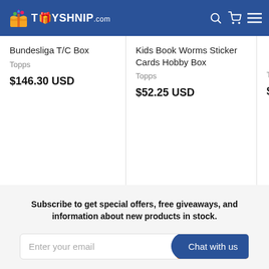TOYSHNIP.com
Bundesliga T/C Box
Topps
$146.30 USD
Kids Book Worms Sticker Cards Hobby Box
Topps
$52.25 USD
Kids Bo... Cards T...
Topps
$107.2...
Subscribe to get special offers, free giveaways, and information about new products in stock.
Enter your email
Chat with us